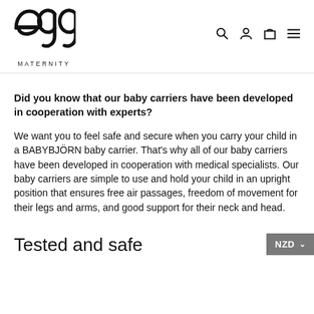egg MATERNITY
Did you know that our baby carriers have been developed in cooperation with experts? We want you to feel safe and secure when you carry your child in a BABYBJÖRN baby carrier. That's why all of our baby carriers have been developed in cooperation with medical specialists. Our baby carriers are simple to use and hold your child in an upright position that ensures free air passages, freedom of movement for their legs and arms, and good support for their neck and head.
Tested and safe